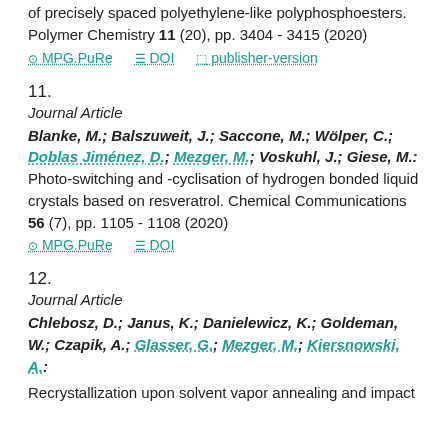of precisely spaced polyethylene-like polyphosphoesters. Polymer Chemistry 11 (20), pp. 3404 - 3415 (2020)
MPG.PuRe   DOI   publisher-version
11.
Journal Article
Blanke, M.; Balszuweit, J.; Saccone, M.; Wölper, C.; Doblas Jiménez, D.; Mezger, M.; Voskuhl, J.; Giese, M.: Photo-switching and -cyclisation of hydrogen bonded liquid crystals based on resveratrol. Chemical Communications 56 (7), pp. 1105 - 1108 (2020)
MPG.PuRe   DOI
12.
Journal Article
Chlebosz, D.; Janus, K.; Danielewicz, K.; Goldeman, W.; Czapik, A.; Glasser, G.; Mezger, M.; Kiersnowski, A.: Recrystallization upon solvent vapor annealing and impact